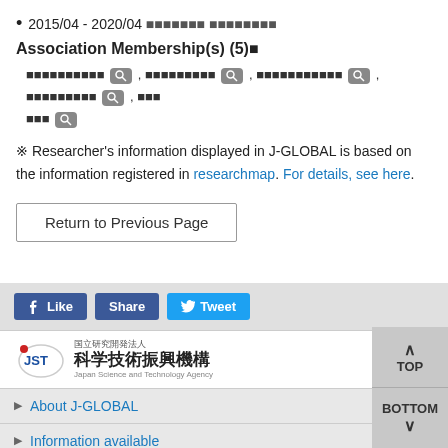2015/04 - 2020/04 ■■■■■■■ ■■■■■■■■
Association Membership(s) (5)■
■■■■■■■■■■ [search] , ■■■■■■■■■ [search] , ■■■■■■■■■■■ [search] , ■■■■■■■■■ [search] , ■■■ ■■■ [search]
※ Researcher's information displayed in J-GLOBAL is based on the information registered in researchmap. For details, see here.
Return to Previous Page
[Figure (screenshot): Social sharing buttons: Like, Share, Tweet]
[Figure (logo): JST 科学技術振興機構 Japan Science and Technology Agency logo]
About J-GLOBAL
Information available